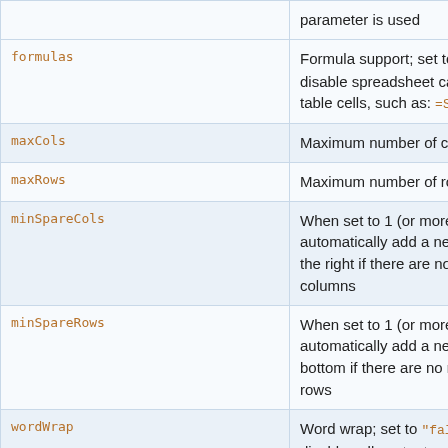| Parameter | Description | Extra |
| --- | --- | --- |
|  | parameter is used |  |
| formulas | Formula support; set to "false" to disable spreadsheet calculations in table cells, such as: =SUM(A1:A8) | formu... |
| maxCols | Maximum number of columns | maxCo... |
| maxRows | Maximum number of rows | maxRo... |
| minSpareCols | When set to 1 (or more), automatically add a new column at the right if there are no more empty columns | minSp... |
| minSpareRows | When set to 1 (or more), automatically add a new row at the bottom if there are no more empty rows | minSp... |
| wordWrap | Word wrap; set to "false" to disable cell content wrapping if it does not fit in the fixed column width | wordW... |
| more... | Additional Handsontable options |  |